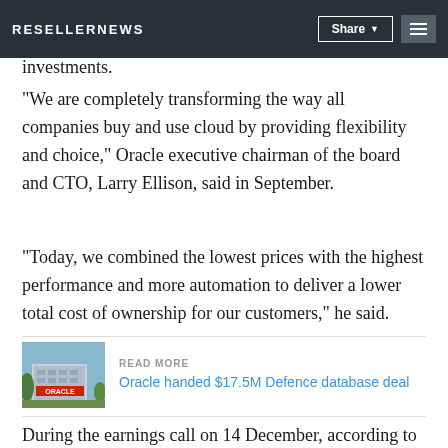RESELLERNEWS
them into cloud environments, while addressing the cloud adoption challenge with their businesses software investments.
"We are completely transforming the way all companies buy and use cloud by providing flexibility and choice," Oracle executive chairman of the board and CTO, Larry Ellison, said in September.
"Today, we combined the lowest prices with the highest performance and more automation to deliver a lower total cost of ownership for our customers," he said.
[Figure (photo): Oracle building exterior with ORACLE signage and trees]
READ MORE
Oracle handed $17.5M Defence database deal
During the earnings call on 14 December, according to